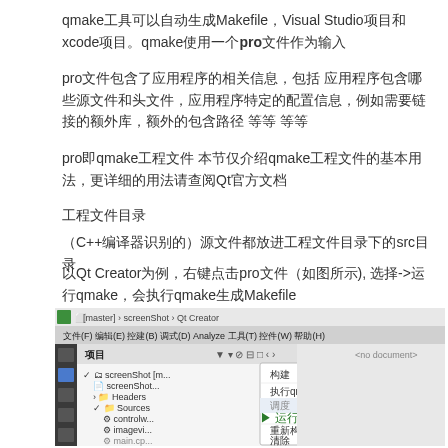qmake工具可以自动生成Makefile，Visual Studio项目和xcode项目。qmake使用一个pro文件作为输入
pro文件包含了应用程序的相关信息，包括 应用程序包含哪些源文件和头文件，应用程序特定的配置信息，例如需要链接的额外库，额外的包含路径 等等 等等
pro即qmake工程文件 本节仅介绍qmake工程文件的基本用法，更详细的用法请查阅Qt官方文档
工程文件目录
（C++编译器识别的）源文件都放进工程文件目录下的src目录
以Qt Creator为例，右键点击pro文件（如图所示), 选择->运行qmake，会执行qmake生成Makefile
[Figure (screenshot): Qt Creator IDE screenshot showing project context menu with options including 构建, 执行qmake, 运行, 重新构建, 清除, 添加新文件...]